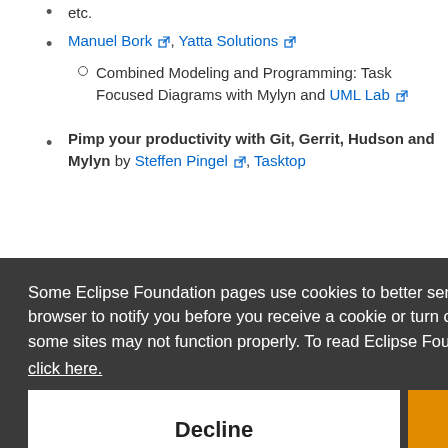etc.
Manuel Bork, Yatta Solutions
Combined Modeling and Programming: Task Focused Diagrams with Mylyn and UML Lab
Pimp your productivity with Git, Gerrit, Hudson and Mylyn by Steffen Pingel, Tasktop
Some Eclipse Foundation pages use cookies to better serve you when you return to the site. You can set your browser to notify you before you receive a cookie or turn off cookies. If you do so, however, some areas of some sites may not function properly. To read Eclipse Foundation Privacy Policy click here.
Markus Knauer: Dynamic Web Applications